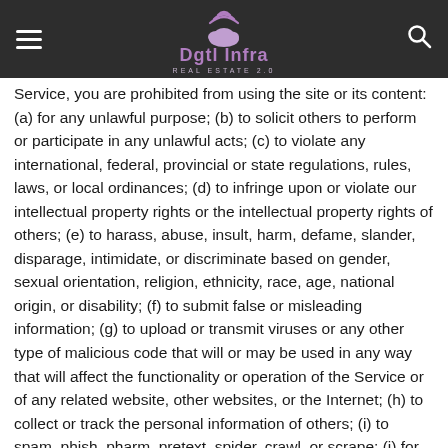Dgtl Infra REAL ESTATE 2.0
Service, you are prohibited from using the site or its content: (a) for any unlawful purpose; (b) to solicit others to perform or participate in any unlawful acts; (c) to violate any international, federal, provincial or state regulations, rules, laws, or local ordinances; (d) to infringe upon or violate our intellectual property rights or the intellectual property rights of others; (e) to harass, abuse, insult, harm, defame, slander, disparage, intimidate, or discriminate based on gender, sexual orientation, religion, ethnicity, race, age, national origin, or disability; (f) to submit false or misleading information; (g) to upload or transmit viruses or any other type of malicious code that will or may be used in any way that will affect the functionality or operation of the Service or of any related website, other websites, or the Internet; (h) to collect or track the personal information of others; (i) to spam, phish, pharm, pretext, spider, crawl, or scrape; (j) for